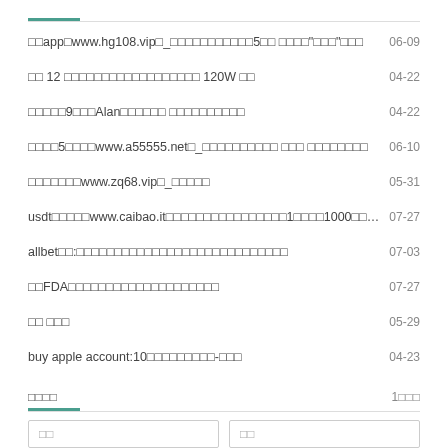□□app□www.hg108.vip□_□□□□□□□□□□□5□□ □□□□"□□□"□□□  06-09
□□ 12 □□□□□□□□□□□□□□□□□□ 120W □□  04-22
□□□□□9□□□Alan□□□□□□ □□□□□□□□□□  04-22
□□□□5□□□□www.a55555.net□_□□□□□□□□□□ □□□ □□□□□□□□  06-10
□□□□□□□www.zq68.vip□_□□□□□  05-31
usdt□□□□□www.caibao.it□□□□□□□□□□□□□□□□1□□□□1000□□□□...  07-27
allbet□□:□□□□□□□□□□□□□□□□□□□□□□□□□□□□  07-03
□□FDA□□□□□□□□□□□□□□□□□□□□  07-27
□□ □□□  05-29
buy apple account:10□□□□□□□□□-□□□  04-23
□□□□  1□□□
□□  □□